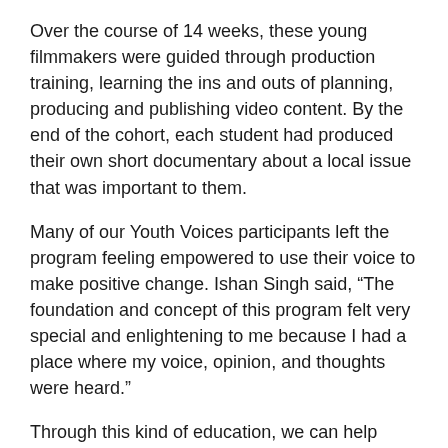Over the course of 14 weeks, these young filmmakers were guided through production training, learning the ins and outs of planning, producing and publishing video content. By the end of the cohort, each student had produced their own short documentary about a local issue that was important to them.
Many of our Youth Voices participants left the program feeling empowered to use their voice to make positive change. Ishan Singh said, “The foundation and concept of this program felt very special and enlightening to me because I had a place where my voice, opinion, and thoughts were heard.”
Through this kind of education, we can help students learn, not only how to share their own stories, but how to be engaged and take thoughtful action to make their communities better.